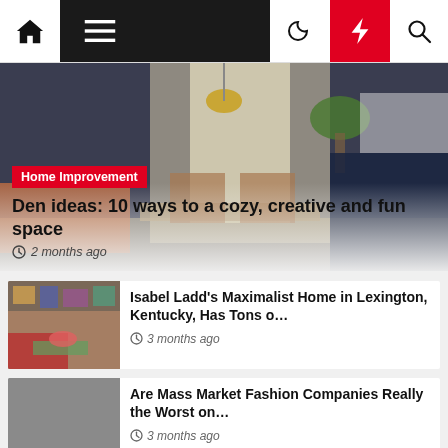[Figure (screenshot): Navigation bar with home icon, hamburger menu, dark background spacer, moon icon, red lightning bolt icon, and search icon]
[Figure (photo): Hero image of a den/living room with mid-century modern furniture, pendant light, and plant]
Home Improvement
Den ideas: 10 ways to a cozy, creative and fun space
2 months ago
[Figure (photo): Thumbnail of a maximalist home interior in Lexington, Kentucky with colorful decor]
Isabel Ladd's Maximalist Home in Lexington, Kentucky, Has Tons o…
3 months ago
[Figure (photo): Gray placeholder thumbnail image]
Are Mass Market Fashion Companies Really the Worst on…
3 months ago